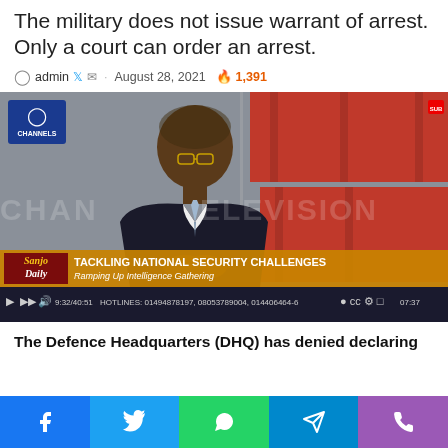The military does not issue warrant of arrest. Only a court can order an arrest.
admin · August 28, 2021 🔥 1,391
[Figure (screenshot): Channels TV screenshot showing a man in a dark suit being interviewed on the show 'Sanjo Daily' with the lower-third title: 'TACKLING NATIONAL SECURITY CHALLENGES – Ramping Up Intelligence Gathering'. Control bar shows hotlines: 01494878197, 08053789004, 014406464-6]
The Defence Headquarters (DHQ) has denied declaring